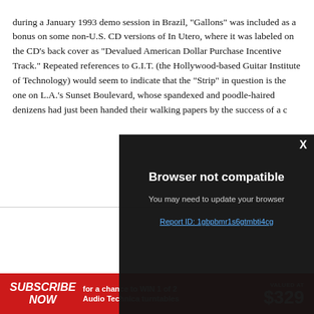during a January 1993 demo session in Brazil, "Gallons" was included as a bonus on some non-U.S. CD versions of In Utero, where it was labeled on the CD's back cover as "Devalued American Dollar Purchase Incentive Track." Repeated references to G.I.T. (the Hollywood-based Guitar Institute of Technology) would seem to indicate that the "Strip" in question is the one on L.A.'s Sunset Boulevard, whose spandexed and poodle-haired denizens had just been handed their walking papers by the success of a c
[Figure (screenshot): Browser not compatible modal overlay on dark background with close X button, subtitle 'You may need to update your browser', and a report ID link 'Report ID: 1gbpbmr1s6gtmbti4cg']
[Figure (infographic): Red advertisement banner: SUBSCRIBE NOW for a chance to WIN 1 of 2 Audio Technica turntables VALUED AT $329]